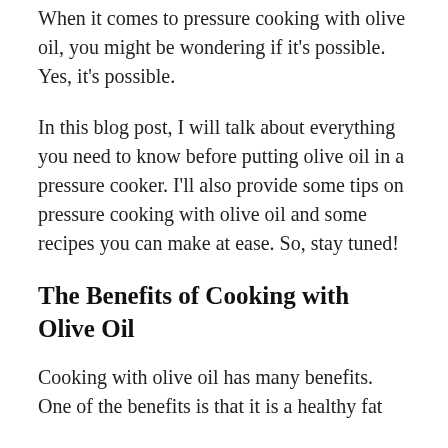When it comes to pressure cooking with olive oil, you might be wondering if it's possible. Yes, it's possible.
In this blog post, I will talk about everything you need to know before putting olive oil in a pressure cooker. I'll also provide some tips on pressure cooking with olive oil and some recipes you can make at ease. So, stay tuned!
The Benefits of Cooking with Olive Oil
Cooking with olive oil has many benefits. One of the benefits is that it is a healthy fat